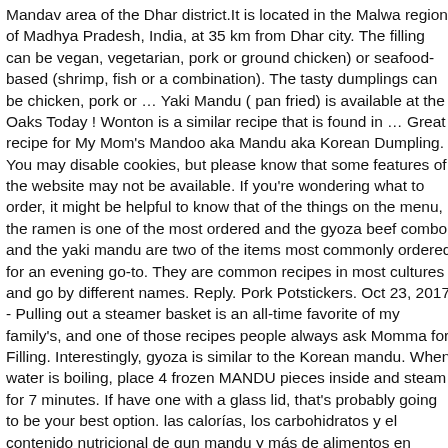Mandav area of the Dhar district.It is located in the Malwa region of Madhya Pradesh, India, at 35 km from Dhar city. The filling can be vegan, vegetarian, pork or ground chicken) or seafood-based (shrimp, fish or a combination). The tasty dumplings can be chicken, pork or … Yaki Mandu ( pan fried) is available at the Oaks Today ! Wonton is a similar recipe that is found in … Great recipe for My Mom's Mandoo aka Mandu aka Korean Dumpling. You may disable cookies, but please know that some features of the website may not be available. If you're wondering what to order, it might be helpful to know that of the things on the menu, the ramen is one of the most ordered and the gyoza beef combo and the yaki mandu are two of the items most commonly ordered for an evening go-to. They are common recipes in most cultures and go by different names. Reply. Pork Potstickers. Oct 23, 2017 - Pulling out a steamer basket is an all-time favorite of my family's, and one of those recipes people always ask Momma for. Filling. Interestingly, gyoza is similar to the Korean mandu. When water is boiling, place 4 frozen MANDU pieces inside and steam for 7 minutes. If have one with a glass lid, that's probably going to be your best option. las calorías, los carbohidratos y el contenido nutricional de gun mandu y más de 2 millones de alimentos en MyFitnessPal.com. Dumpling vs Potstickers. Make this Korean yaki mandu "pot sticker" with pork, zucchini, green onion, bean sprouts, cabbage..but most important tofu & broth for flavor...2 lbs makes a few dozen! This place is one of the 3 most popular spots for Asian delivery. This guide takes us on a journey from China to India, Nepal, Russia, and beyond